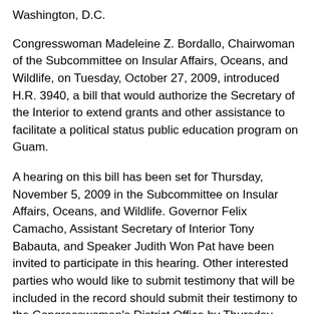Washington, D.C.
Congresswoman Madeleine Z. Bordallo, Chairwoman of the Subcommittee on Insular Affairs, Oceans, and Wildlife, on Tuesday, October 27, 2009, introduced H.R. 3940, a bill that would authorize the Secretary of the Interior to extend grants and other assistance to facilitate a political status public education program on Guam.
A hearing on this bill has been set for Thursday, November 5, 2009 in the Subcommittee on Insular Affairs, Oceans, and Wildlife. Governor Felix Camacho, Assistant Secretary of Interior Tony Babauta, and Speaker Judith Won Pat have been invited to participate in this hearing. Other interested parties who would like to submit testimony that will be included in the record should submit their testimony to the Congresswoman's District Office by Thursday, November 12, 2009.
“This bill reaffirms the federal government’s responsibility of advancing the political development of the U.S. territories,” Congresswoman Madeleine Z. Bordallo said today.